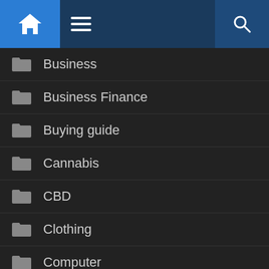Navigation bar with home, menu, and search icons
Business
Business Finance
Buying guide
Cannabis
CBD
Clothing
Computer
Construction
Cooking